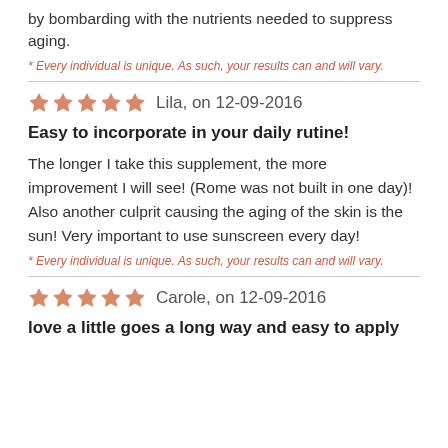by bombarding with the nutrients needed to suppress aging.
* Every individual is unique. As such, your results can and will vary.
Lila, on 12-09-2016
Easy to incorporate in your daily rutine!
The longer I take this supplement, the more improvement I will see! (Rome was not built in one day)! Also another culprit causing the aging of the skin is the sun! Very important to use sunscreen every day!
* Every individual is unique. As such, your results can and will vary.
Carole, on 12-09-2016
love a little goes a long way and easy to apply